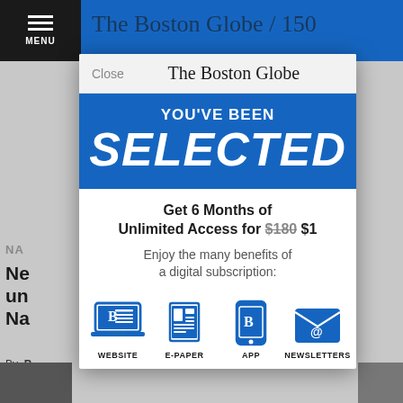[Figure (screenshot): Boston Globe website screenshot showing navigation bar with hamburger menu and partially visible newspaper headline in the background]
The Boston Globe
Close
YOU'VE BEEN
SELECTED
Get 6 Months of Unlimited Access for $180 $1
Enjoy the many benefits of a digital subscription:
[Figure (illustration): Four blue icons: laptop (WEBSITE), newspaper (E-PAPER), smartphone (APP), envelope (NEWSLETTERS)]